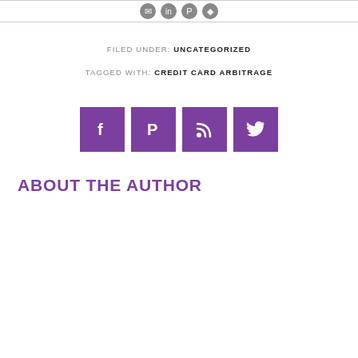[Figure (other): Top bar with social sharing icons (circular dark icons)]
FILED UNDER: UNCATEGORIZED
TAGGED WITH: CREDIT CARD ARBITRAGE
[Figure (other): Four purple square social media buttons: Facebook, Pinterest, RSS, Twitter]
ABOUT THE AUTHOR